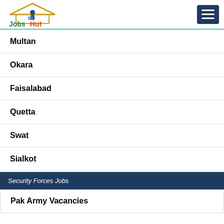Jobs Hut
Multan
Okara
Faisalabad
Quetta
Swat
Sialkot
Security Forces Jobs
Pak Army Vacancies